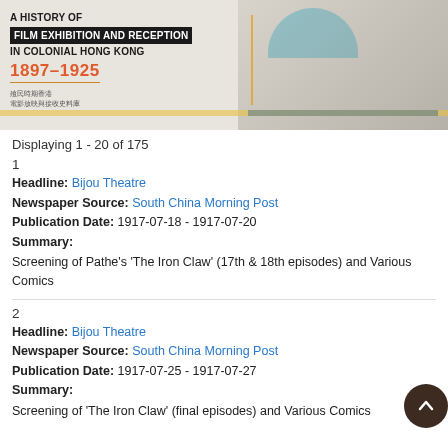[Figure (illustration): Banner for 'A History of Film Exhibition and Reception in Colonial Hong Kong 1897-1925' featuring a dome/building illustration with blue dome, orange accents, and Chinese text subtitle.]
Displaying 1 - 20 of 175
1
Headline: Bijou Theatre
Newspaper Source: South China Morning Post
Publication Date: 1917-07-18 - 1917-07-20
Summary:
Screening of Pathe's 'The Iron Claw' (17th & 18th episodes) and Various Comics
2
Headline: Bijou Theatre
Newspaper Source: South China Morning Post
Publication Date: 1917-07-25 - 1917-07-27
Summary:
Screening of 'The Iron Claw' (final episodes) and Various Comics